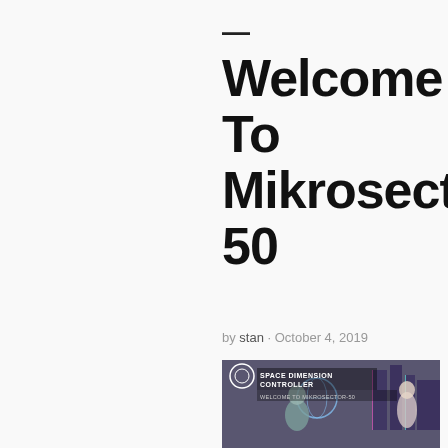— Welcome To Mikrosector-50
by stan · October 4, 2019
[Figure (illustration): Album cover for 'Welcome to Mikrosector-50' by Space Dimension Controller. Features colorful comic/anime-style sci-fi artwork with multiple characters in a futuristic city scene. Text on image reads 'SPACE DIMENSION CONTROLLER' and 'WELCOME TO MIKROSECTOR-50'.]